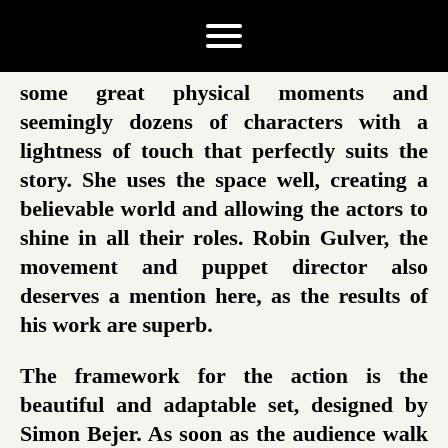☰
some great physical moments and seemingly dozens of characters with a lightness of touch that perfectly suits the story. She uses the space well, creating a believable world and allowing the actors to shine in all their roles. Robin Gulver, the movement and puppet director also deserves a mention here, as the results of his work are superb.
The framework for the action is the beautiful and adaptable set, designed by Simon Bejer. As soon as the audience walk into the theatre the set announces i